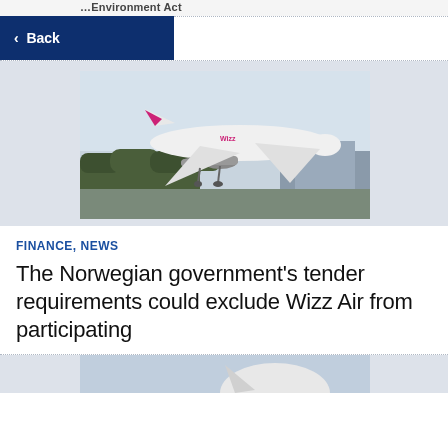...Environment Act
< Back
[Figure (photo): A Wizz Air aircraft (white with pink/magenta livery) taking off or landing at an airport, with trees and airport buildings visible in the background. The image is set against a light grey page background.]
FINANCE, NEWS
The Norwegian government's tender requirements could exclude Wizz Air from participating
[Figure (photo): Partial view of another aircraft photo, cropped, showing the tail section against a light blue/grey background.]